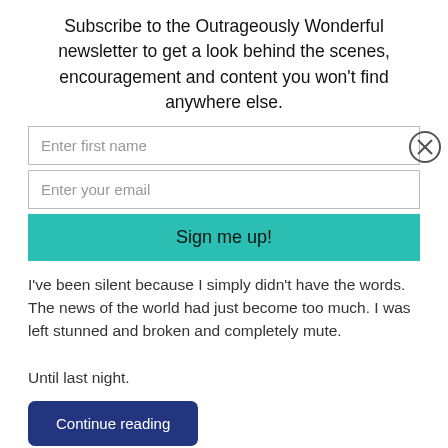Subscribe to the Outrageously Wonderful newsletter to get a look behind the scenes, encouragement and content you won't find anywhere else.
Enter first name
Enter your email
Sign me up!
I've been silent because I simply didn't have the words. The news of the world had just become too much. I was left stunned and broken and completely mute.

Until last night.
Continue reading